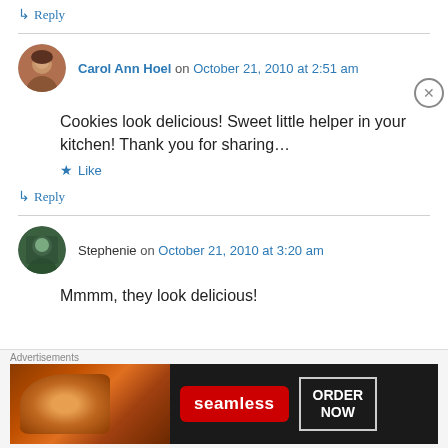↳ Reply
Carol Ann Hoel on October 21, 2010 at 2:51 am
Cookies look delicious! Sweet little helper in your kitchen! Thank you for sharing…
★ Like
↳ Reply
Stephenie on October 21, 2010 at 3:20 am
Mmmm, they look delicious!
Advertisements
[Figure (screenshot): Seamless food delivery advertisement banner with pizza image, Seamless logo, and ORDER NOW button]